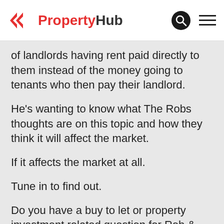PropertyHub
of landlords having rent paid directly to them instead of the money going to tenants who then pay their landlord.
He's wanting to know what The Robs thoughts are on this topic and how they think it will affect the market.
If it affects the market at all.
Tune in to find out.
Do you have a buy to let or property investment related question for Rob & Rob?